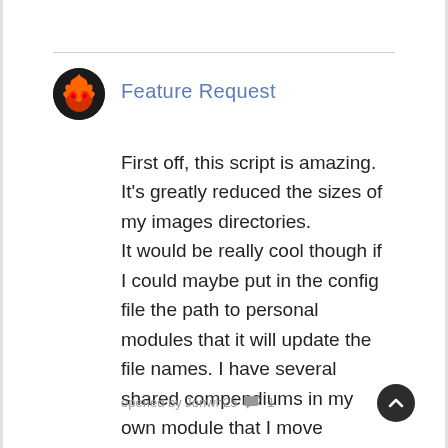Feature Request
First off, this script is amazing. It's greatly reduced the sizes of my images directories. It would be really cool though if I could maybe put in the config file the path to personal modules that it will update the file names. I have several shared compendiums in my own module that I move between worlds.
opened by Jonwh25 💬 1